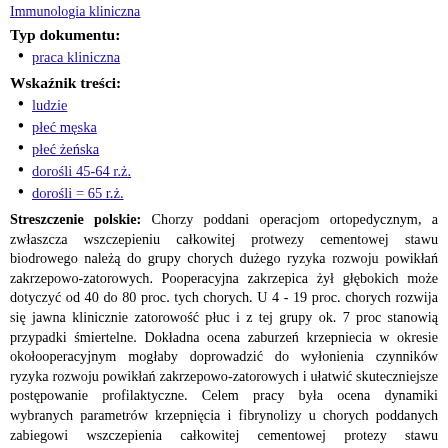Immunologia kliniczna
Typ dokumentu:
praca kliniczna
Wskaźnik treści:
ludzie
płeć męska
płeć żeńska
dorośli 45-64 r.ż.
dorośli = 65 r.ż.
Streszczenie polskie: Chorzy poddani operacjom ortopedycznym, a zwłaszcza wszczepieniu całkowitej protwezy cementowej stawu biodrowego należą do grupy chorych dużego ryzyka rozwoju powikłań zakrzepowo-zatorowych. Pooperacyjna zakrzepica żył głębokich może dotyczyć od 40 do 80 proc. tych chorych. U 4 - 19 proc. chorych rozwija się jawna klinicznie zatorowość płuc i z tej grupy ok. 7 proc stanowią przypadki śmiertelne. Dokładna ocena zaburzeń krzepniecia w okresie okołooperacyjnym mogłaby doprowadzić do wyłonienia czynników ryzyka rozwoju powikłań zakrzepowo-zatorowych i ułatwić skuteczniejsze postępowanie profilaktyczne. Celem pracy była ocena dynamiki wybranych parametrów krzepnięcia i fibrynolizy u chorych poddanych zabiegowi wszczepienia całkowitej cementowej protezy stawu biodrowego. Badaniem objęto 66 pacjentów poddanych zabiegowi